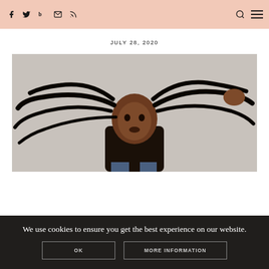Social media icons (Facebook, Twitter, Bloglovin, Email, RSS) on left; Search and Menu icons on right. Background: peach/salmon color.
JULY 28, 2020
[Figure (photo): A Black woman with long braided locs holding her hair spread wide to the sides against a light grey background, wearing a black top and jeans. She looks directly at the camera with mouth slightly open.]
We use cookies to ensure you get the best experience on our website.
OK
MORE INFORMATION